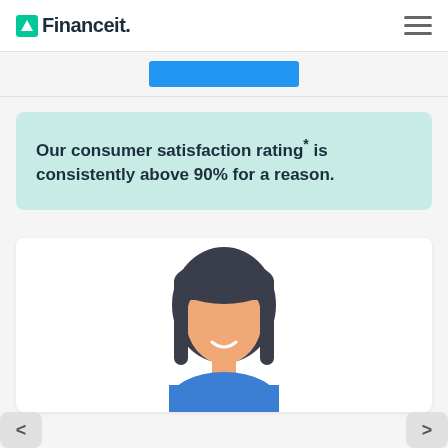Financeit.
Our consumer satisfaction rating* is consistently above 90% for a reason.
[Figure (illustration): Illustrated avatar of a woman with dark hair and a blue top, used as a testimonial profile image on a white card.]